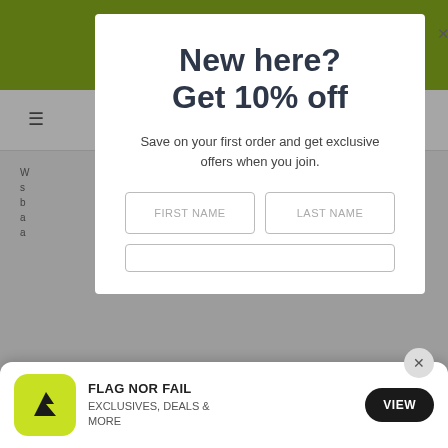[Figure (screenshot): Website background with green header bar and navigation]
New here?
Get 10% off
Save on your first order and get exclusive offers when you join.
[Figure (other): Form fields: FIRST NAME, LAST NAME input boxes]
[Figure (other): App install banner: FLAG NOR FAIL - EXCLUSIVES, DEALS & MORE with VIEW button]